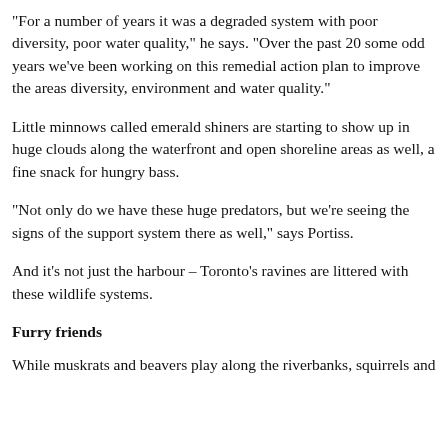"For a number of years it was a degraded system with poor diversity, poor water quality," he says. "Over the past 20 some odd years we've been working on this remedial action plan to improve the areas diversity, environment and water quality."
Little minnows called emerald shiners are starting to show up in huge clouds along the waterfront and open shoreline areas as well, a fine snack for hungry bass.
"Not only do we have these huge predators, but we're seeing the signs of the support system there as well," says Portiss.
And it's not just the harbour – Toronto's ravines are littered with these wildlife systems.
Furry friends
While muskrats and beavers play along the riverbanks, squirrels and